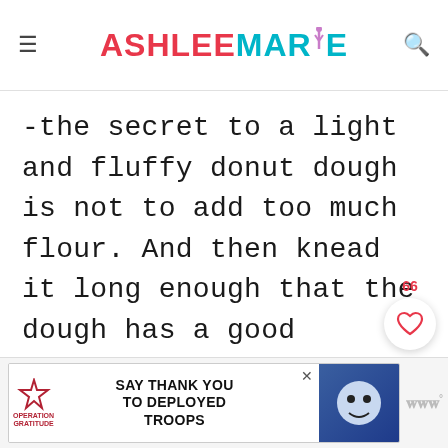ASHLEE MARIE
-the secret to a light and fluffy donut dough is not to add too much flour. And then knead it long enough that the dough has a good stretch and isn't too sticky.
[Figure (other): Heart/like button with count 66 and red search button]
[Figure (other): Advertisement banner: Operation Gratitude - SAY THANK YOU TO DEPLOYED TROOPS]